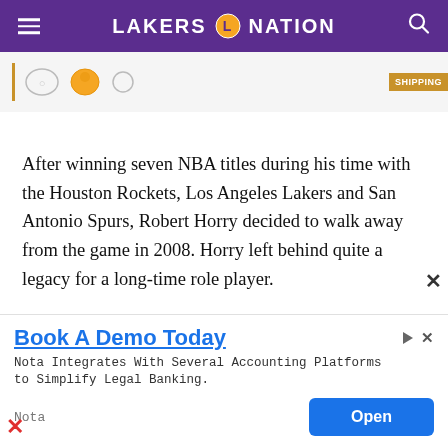LAKERS NATION
[Figure (screenshot): Partial advertisement banner showing championship rings and a shipping label]
After winning seven NBA titles during his time with the Houston Rockets, Los Angeles Lakers and San Antonio Spurs, Robert Horry decided to walk away from the game in 2008. Horry left behind quite a legacy for a long-time role player.
Along with winning an impressive seven rings during his career, Horry was also known for his
[Figure (screenshot): Advertisement overlay: Book A Demo Today - Nota Integrates With Several Accounting Platforms to Simplify Legal Banking. Open button.]